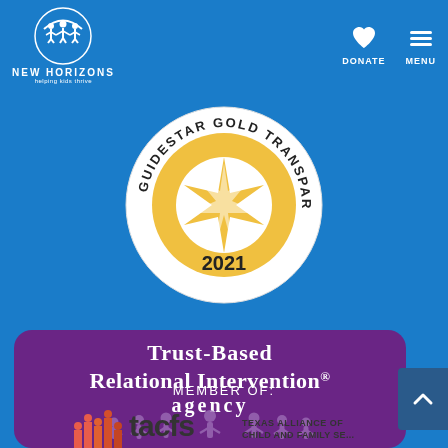[Figure (logo): New Horizons organization logo in white on blue background — circular icon with figures above text NEW HORIZONS]
[Figure (logo): GuideStar Gold Transparency 2021 seal — circular badge with gold star burst in center, text around ring reading GUIDESTAR GOLD TRANSPARENCY, year 2021 at bottom]
[Figure (logo): Trust-Based Relational Intervention Agency badge — purple rounded rectangle with white text and silhouette figures of children holding hands]
MEMBER OF:
[Figure (logo): TACFS — Texas Alliance of Child and Family Services logo — colorful bar chart people icons with tacfs text and full name]